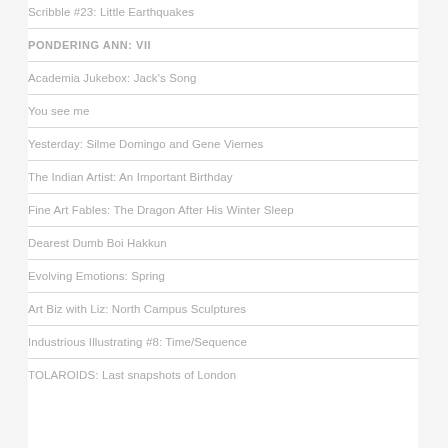Scribble #23: Little Earthquakes
PONDERING ANN: VII
Academia Jukebox: Jack's Song
You see me
Yesterday: Silme Domingo and Gene Viernes
The Indian Artist: An Important Birthday
Fine Art Fables: The Dragon After His Winter Sleep
Dearest Dumb Boi Hakkun
Evolving Emotions: Spring
Art Biz with Liz: North Campus Sculptures
Industrious Illustrating #8: Time/Sequence
TOLAROIDS: Last snapshots of London